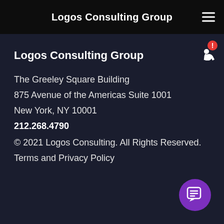Logos Consulting Group
Logos Consulting Group
The Greeley Square Building
875 Avenue of the Americas Suite 1001
New York, NY 10001
212.268.4790
© 2021 Logos Consulting. All Rights Reserved.
Terms and Privacy Policy